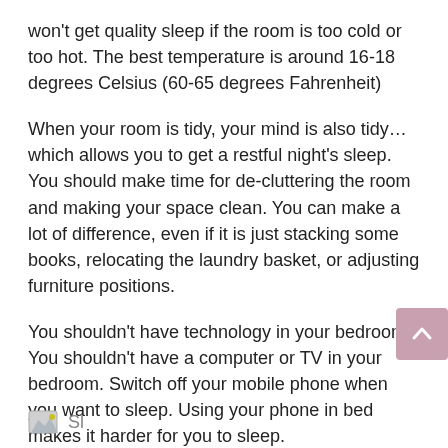won't get quality sleep if the room is too cold or too hot. The best temperature is around 16-18 degrees Celsius (60-65 degrees Fahrenheit)
When your room is tidy, your mind is also tidy… which allows you to get a restful night's sleep. You should make time for de-cluttering the room and making your space clean. You can make a lot of difference, even if it is just stacking some books, relocating the laundry basket, or adjusting furniture positions.
You shouldn't have technology in your bedroom. You shouldn't have a computer or TV in your bedroom. Switch off your mobile phone when you want to sleep. Using your phone in bed makes it harder for you to sleep.
LED displays can disrupt your sleep and make you get poor quality of sleep. You shouldn't have any tech gadgets in your bedroom because you will be tempted to use them. Switch off your tablet, phone, or alarm clocks with digital displays.
Sl...